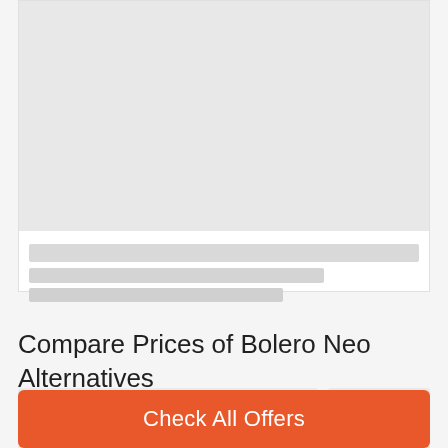[Figure (screenshot): Top card with a large grey placeholder image area and two grey placeholder text lines below it]
Compare Prices of Bolero Neo Alternatives
[Figure (screenshot): Two grey placeholder card boxes side by side at the bottom]
Check All Offers